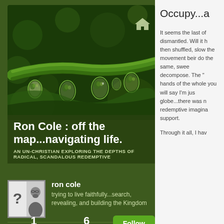[Figure (photo): Close-up macro photo of a green plant stem with water droplets hanging from it, against a dark green background. A small house/home icon is visible in the upper right area of the photo.]
Ron Cole : off the map...navigating life.
AN UN-CHRISTIAN EXPLORING THE DEPTHS OF RADICAL, SCANDALOUS REDEMPTIVE
[Figure (photo): Author avatar photo showing a person with glasses and a beard, with a question mark symbol overlay on the left side. Black and white style image with white border.]
ron cole
trying to live faithfully...search, revealing, and building the Kingdom
1
FOLLOWING
6
FOLLOWERS
Follow
Occupy...a
It seems the last of dismantled. Will it h then shuffled, slow the movement beir do the same, swee decompose. The " hands of the whole you will say I'm jus globe...there was n redemptive imagina support.
Through it all, I hav